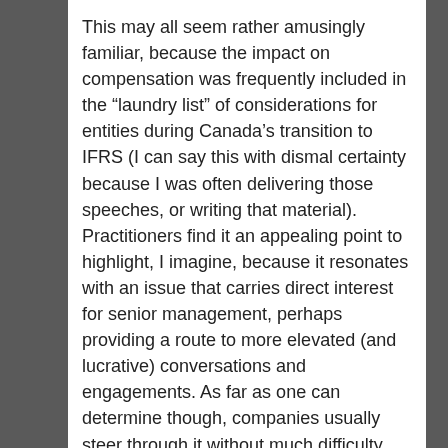This may all seem rather amusingly familiar, because the impact on compensation was frequently included in the “laundry list” of considerations for entities during Canada’s transition to IFRS (I can say this with dismal certainty because I was often delivering those speeches, or writing that material). Practitioners find it an appealing point to highlight, I imagine, because it resonates with an issue that carries direct interest for senior management, perhaps providing a route to more elevated (and lucrative) conversations and engagements. As far as one can determine though, companies usually steer through it without much difficulty (for instance, this CPA Canada report on the Canadian changeover experience, based on interviews with preparers and auditors, didn’t have anything to say about compensation-related challenges).
When I say this is amusing, I mean it in this black sense: how could anyone expect us to believe, at this advanced stage in the evolution of modern